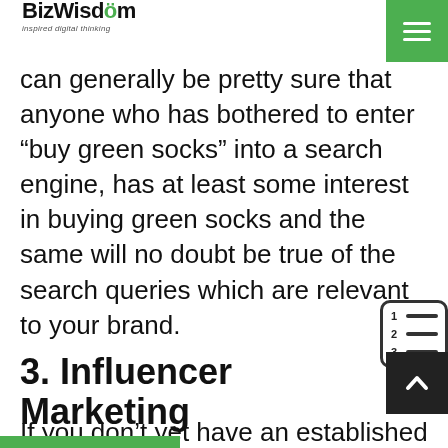BizWisdom — Inspired digital thinking
can generally be pretty sure that anyone who has bothered to enter “buy green socks” into a search engine, has at least some interest in buying green socks and the same will no doubt be true of the search queries which are relevant to your brand.
3. Influencer Marketing
If you don’t yet have an established